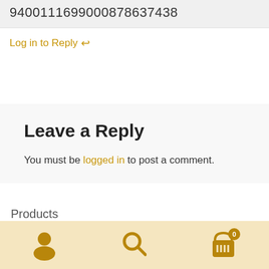9400111699000878637438
Log in to Reply ↩
Leave a Reply
You must be logged in to post a comment.
Products
[Figure (screenshot): Bottom navigation bar with gold/amber background containing three icons: a user/person icon, a search/magnifying glass icon, and a shopping cart icon with a badge showing the number 0]